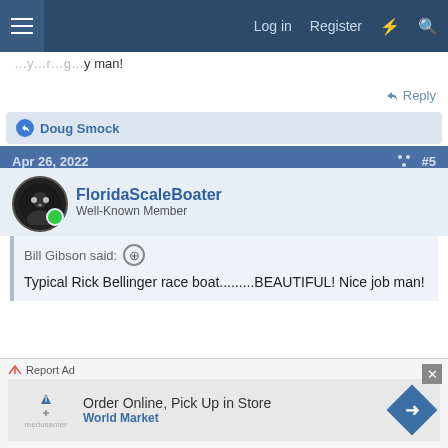Log in  Register
...y man!
Reply
Doug Smock
Apr 26, 2022  #5
FloridaScaleBoater
Well-Known Member
Bill Gibson said:
Typical Rick Bellinger race boat.........BEAUTIFUL! Nice job man!
Report Ad
Order Online, Pick Up in Store
World Market